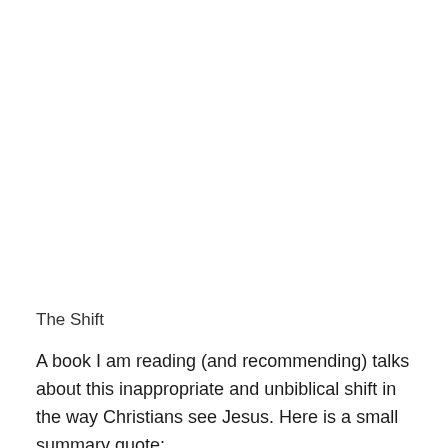The Shift
A book I am reading (and recommending) talks about this inappropriate and unbiblical shift in the way Christians see Jesus. Here is a small summary quote: